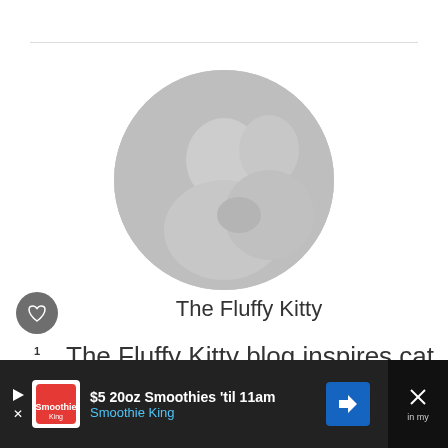[Figure (photo): Circular profile photo of a smiling couple holding a cat, rendered in muted grayscale tones]
The Fluffy Kitty
The Fluffy Kitty blog inspires cat owners around the world to live a
[Figure (infographic): Advertisement banner: $5 20oz Smoothies 'til 11am - Smoothie King, with logo, play button, X button, blue arrow sign, and close button]